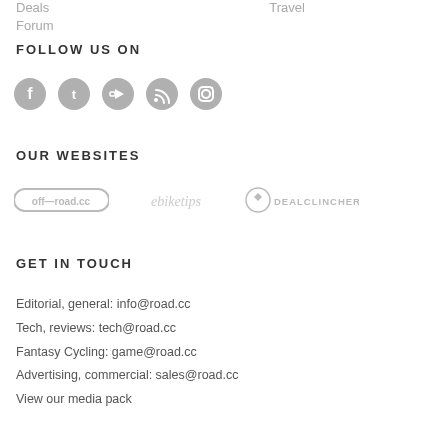Deals
Travel
Forum
FOLLOW US ON
[Figure (illustration): Five social media icons in grey circles: Facebook, Twitter, YouTube, RSS, Instagram]
OUR WEBSITES
[Figure (logo): Three website logos: off-road.cc, ebiketips, dealclincher]
GET IN TOUCH
Editorial, general: info@road.cc
Tech, reviews: tech@road.cc
Fantasy Cycling: game@road.cc
Advertising, commercial: sales@road.cc
View our media pack